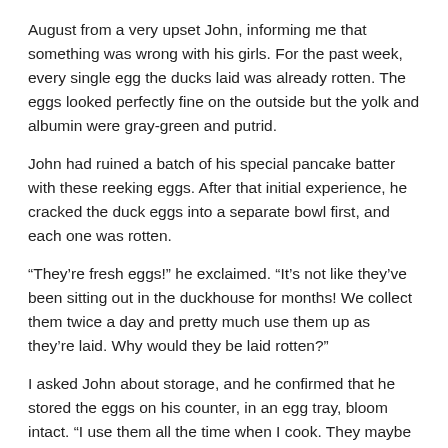August from a very upset John, informing me that something was wrong with his girls. For the past week, every single egg the ducks laid was already rotten. The eggs looked perfectly fine on the outside but the yolk and albumin were gray-green and putrid.
John had ruined a batch of his special pancake batter with these reeking eggs. After that initial experience, he cracked the duck eggs into a separate bowl first, and each one was rotten.
“They’re fresh eggs!” he exclaimed. “It’s not like they’ve been sitting out in the duckhouse for months! We collect them twice a day and pretty much use them up as they’re laid. Why would they be laid rotten?”
I asked John about storage, and he confirmed that he stored the eggs on his counter, in an egg tray, bloom intact. “I use them all the time when I cook. They maybe last a day in the tray before I use them. Or at least, they used to until this.”
Bury in the Bird...